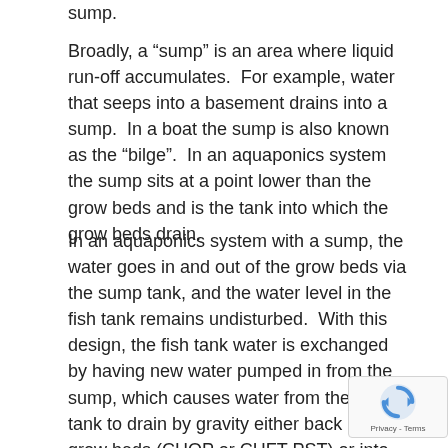sump.
Broadly, a “sump” is an area where liquid run-off accumulates.  For example, water that seeps into a basement drains into a sump.  In a boat the sump is also known as the “bilge”.  In an aquaponics system the sump sits at a point lower than the grow beds and is the tank into which the grow beds drain.
In an aquaponics system with a sump, the water goes in and out of the grow beds via the sump tank, and the water level in the fish tank remains undisturbed.  With this design, the fish tank water is exchanged by having new water pumped in from the sump, which causes water from the fish tank to drain by gravity either back into the grow beds (CHOP or CHFT PST) or into the sump tank (CHOP2).  This allows you to add far mo… grow beds than you could otherwise, even going all… way up to a 1:3 ratio of fish tank to grow bed volum… After that, the aquaponics combining on bed doin…